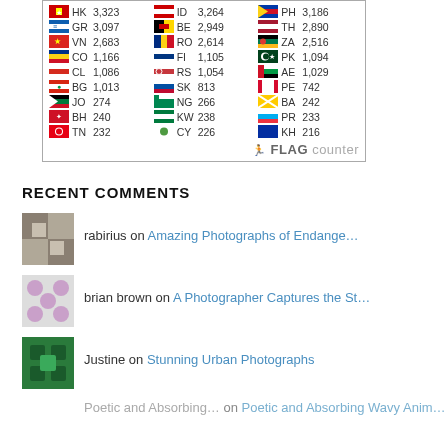[Figure (other): Flag counter widget showing country codes and visit counts in a 3-column grid with flags]
RECENT COMMENTS
rabirius on Amazing Photographs of Endange…
brian brown on A Photographer Captures the St…
Justine on Stunning Urban Photographs
Poetic and Absorbing… on Poetic and Absorbing Wavy Anim…